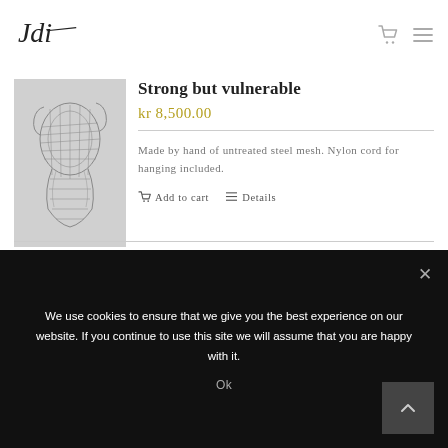Jdi [logo] — navigation with cart and menu icons
[Figure (photo): Black and white photo of a steel mesh torso sculpture shaped like a human body (back view), showing the form of a figure from waist to upper torso area.]
Strong but vulnerable
kr 8,500.00
Made by hand of untreated steel mesh. Nylon cord for hanging included.
Add to cart   Details
We use cookies to ensure that we give you the best experience on our website. If you continue to use this site we will assume that you are happy with it.
Ok